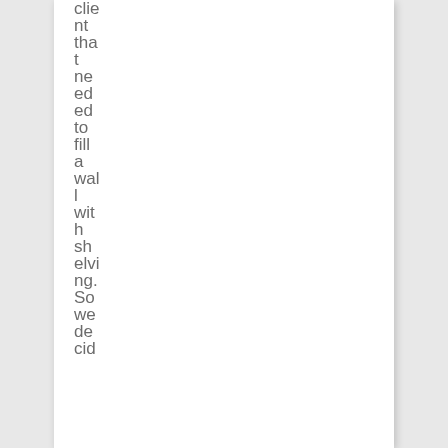client that needed to fill a wall with shelving. So we decided